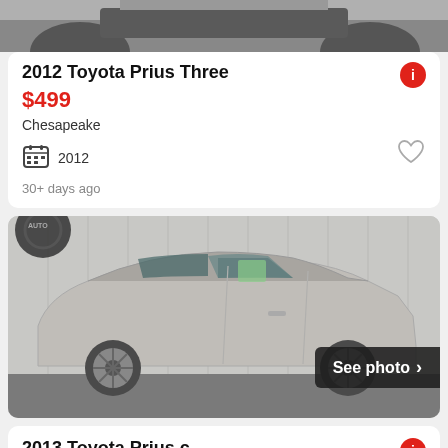[Figure (photo): Partial top view of a dark car, cropped]
2012 Toyota Prius Three
$499
Chesapeake
2012
30+ days ago
[Figure (photo): Side profile photo of a silver Toyota Prius c hatchback in a dealership, with 'See photo >' overlay]
2013 Toyota Prius c